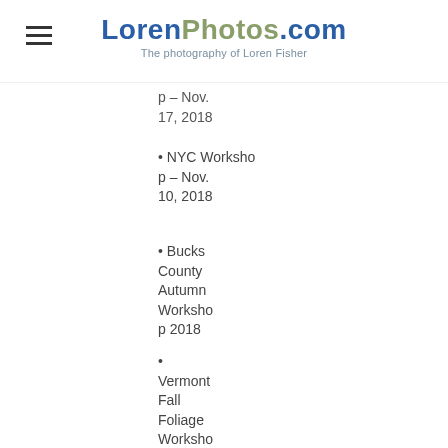LorenPhotos.com - The photography of Loren Fisher
p – Nov. 17, 2018
• NYC Workshop – Nov. 10, 2018
• Bucks County Autumn Workshop 2018
• Vermont Fall Foliage Workshop 2018
Schedule an Appoint